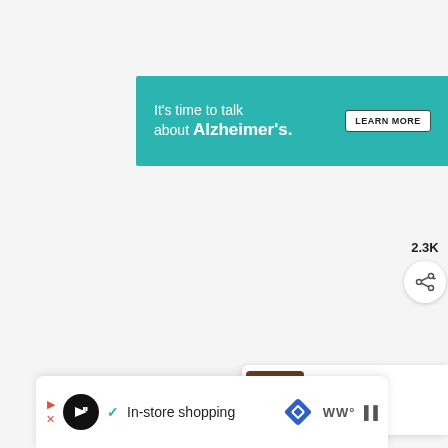[Figure (other): Alzheimer's Association banner advertisement with teal background. Text reads: It's time to talk about Alzheimer's. with a LEARN MORE button and the Alzheimer's Association logo.]
[Figure (other): Teal circular heart/favorite button showing 2.3K likes, and a white circular share button below it.]
[Figure (other): What's Next panel showing a Keto Caramel Slice Recipe thumbnail image with text 'WHAT'S NEXT' and title 'Keto Caramel Slice Recipe...']
[Figure (other): Bottom advertisement bar with play controls, checkmark, 'In-store shopping' text, navigation diamond icon, and additional icons]